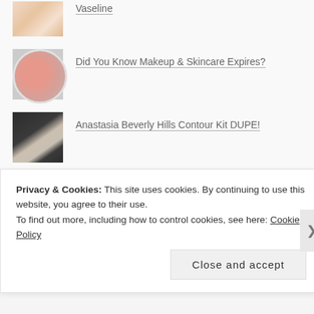Vaseline
Did You Know Makeup & Skincare Expires?
Anastasia Beverly Hills Contour Kit DUPE!
First Impression Review: Maybelline Dream Wonder Fluid-Touch Foundation
RECENT POSTS
Privacy & Cookies: This site uses cookies. By continuing to use this website, you agree to their use.
To find out more, including how to control cookies, see here: Cookie Policy
Close and accept